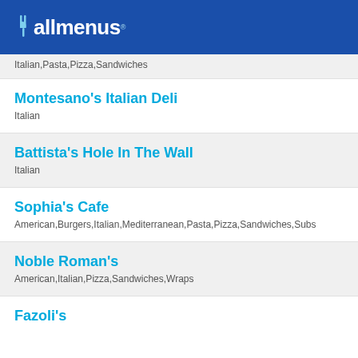allmenus
Italian,Pasta,Pizza,Sandwiches
Montesano's Italian Deli
Italian
Battista's Hole In The Wall
Italian
Sophia's Cafe
American,Burgers,Italian,Mediterranean,Pasta,Pizza,Sandwiches,Subs
Noble Roman's
American,Italian,Pizza,Sandwiches,Wraps
Fazoli's